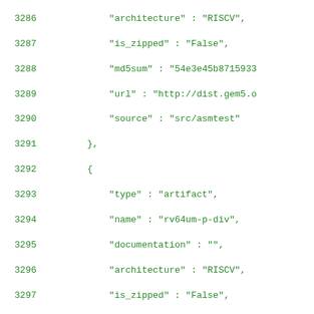3286   "architecture" : "RISCV",
3287   "is_zipped" : "False",
3288   "md5sum" : "54e3e45b87159333
3289   "url" : "http://dist.gem5.o
3290   "source" : "src/asmtest"
3291 },
3292 {
3293   "type" : "artifact",
3294   "name" : "rv64um-p-div",
3295   "documentation" : "",
3296   "architecture" : "RISCV",
3297   "is_zipped" : "False",
3298   "md5sum" : "820dd93e9bd32aa
3299   "url" : "http://dist.gem5.o
3300   "source" : "src/asmtest"
3301 },
3302 {
3303   "type" : "artifact",
3304   "name" : "rv64um-p-divu",
3305   "documentation" : "",
3306   "architecture" : "RISCV",
3307   "is_zipped" : "False",